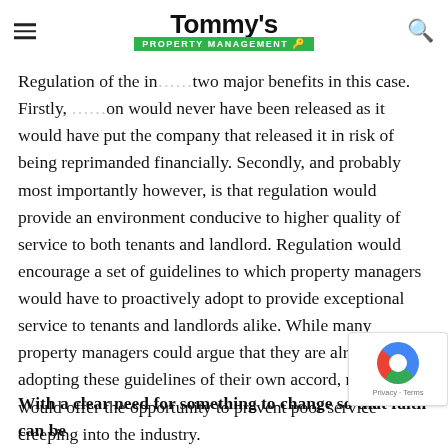Tommy's Property Management
Regulation of the in... two major benefits in this case. Firstly, ... on would never have been released as it would have put the company that released it in risk of being reprimanded financially. Secondly, and probably most importantly however, is that regulation would provide an environment conducive to higher quality of service to both tenants and landlord. Regulation would encourage a set of guidelines to which property managers would have to proactively adopt to provide exceptional service to tenants and landlords alike. While many property managers could argue that they are already adopting these guidelines of their own accord, regulation would offer the opportunity to prevent poor service creeping into the industry.
With a clear need for something to change so that faith can be